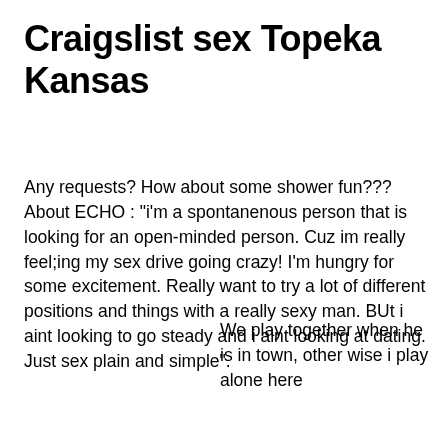Craigslist sex Topeka Kansas
Any requests? How about some shower fun??? About ECHO : "i'm a spontanenous person that is looking for an open-minded person. Cuz im really feel;ing my sex drive going crazy! I'm hungry for some excitement. Really want to try a lot of different positions and things with a really sexy man. BUt i aint looking to go steady and i aint looking at dating. Just sex plain and simple".
We play together when he is in town, other wise i play alone here